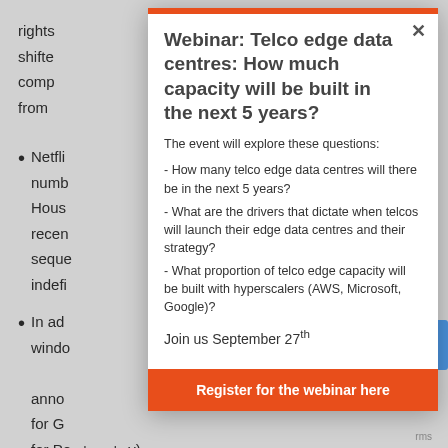rights
shifted
comp
from
Netflix numb Hous recen seque indefi
In add windo anno for G for Pe...y breadray).
Webinar: Telco edge data centres: How much capacity will be built in the next 5 years?
The event will explore these questions:
- How many telco edge data centres will there be in the next 5 years?
- What are the drivers that dictate when telcos will launch their edge data centres and their strategy?
- What proportion of telco edge capacity will be built with hyperscalers (AWS, Microsoft, Google)?
Join us September 27th
Register for the webinar here